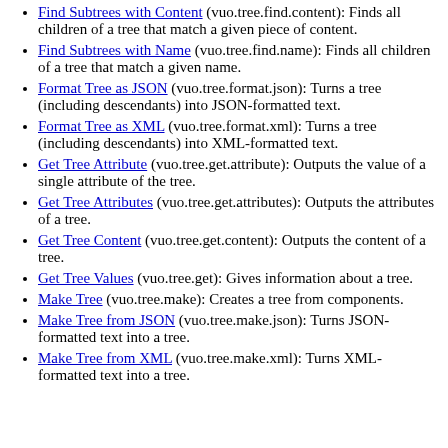Find Subtrees with Content (vuo.tree.find.content): Finds all children of a tree that match a given piece of content.
Find Subtrees with Name (vuo.tree.find.name): Finds all children of a tree that match a given name.
Format Tree as JSON (vuo.tree.format.json): Turns a tree (including descendants) into JSON-formatted text.
Format Tree as XML (vuo.tree.format.xml): Turns a tree (including descendants) into XML-formatted text.
Get Tree Attribute (vuo.tree.get.attribute): Outputs the value of a single attribute of the tree.
Get Tree Attributes (vuo.tree.get.attributes): Outputs the attributes of a tree.
Get Tree Content (vuo.tree.get.content): Outputs the content of a tree.
Get Tree Values (vuo.tree.get): Gives information about a tree.
Make Tree (vuo.tree.make): Creates a tree from components.
Make Tree from JSON (vuo.tree.make.json): Turns JSON-formatted text into a tree.
Make Tree from XML (vuo.tree.make.xml): Turns XML-formatted text into a tree.